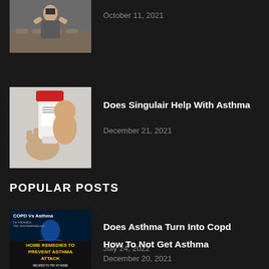[Figure (photo): Partial view of person in a classroom setting, top portion cut off]
October 11, 2021
[Figure (photo): Person using an inhaler, red cap visible]
Does Singulair Help With Asthma
December 21, 2021
POPULAR POSTS
[Figure (photo): COPD vs Asthma medical illustration showing bronchial tubes and lungs on blue background]
Does Asthma Turn Into Copd
July 24, 2022
[Figure (photo): Home Remedies to Prevent Asthma Attack text on dark background]
How To Not Get Asthma
December 20, 2021
[Figure (photo): Partial view of person figure, cut off at bottom of page]